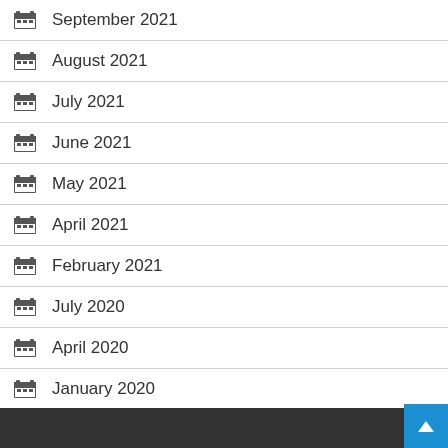September 2021
August 2021
July 2021
June 2021
May 2021
April 2021
February 2021
July 2020
April 2020
January 2020
November 2017